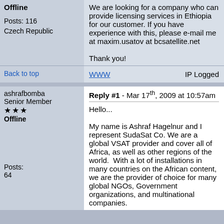Offline
We are looking for a company who can provide licensing services in Ethiopia for our customer. If you have experience with this, please e-mail me at maxim.usatov at bcsatellite.net

Thank you!
Posts: 116
Czech Republic
Back to top
WWW   IP Logged
ashrafbomba
Senior Member
★★★
Offline
Reply #1 - Mar 17th, 2009 at 10:57am
Hello...

My name is Ashraf Hagelnur and I represent SudaSat Co. We are a global VSAT provider and cover all of Africa, as well as other regions of the world.  With a lot of installations in many countries on the African content, we are the provider of choice for many global NGOs, Government organizations, and multinational companies.
Posts: 64